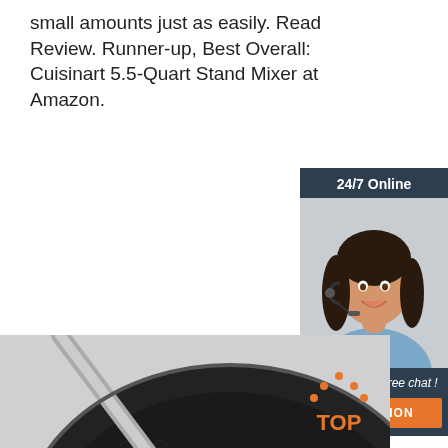small amounts just as easily. Read Review. Runner-up, Best Overall: Cuisinart 5.5-Quart Stand Mixer at Amazon.
[Figure (other): Orange 'Get Price' button]
[Figure (other): 24/7 Online chat widget with a customer service woman wearing a headset, 'Click here for free chat!' text, and orange QUOTATION button]
[Figure (photo): Close-up photo of a black hexagon-patterned non-stick frying pan with a stainless steel handle, showing a fried egg in the pan]
[Figure (other): Orange and dark 'TOP' badge/logo in bottom right corner of pan image]